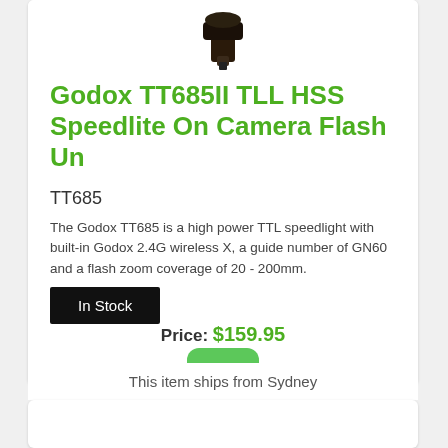[Figure (photo): Product image of Godox TT685II flash unit, partially cropped at top]
Godox TT685II TLL HSS Speedlite On Camera Flash Un
TT685
The Godox TT685 is a high power TTL speedlight with built-in Godox 2.4G wireless X, a guide number of GN60 and a flash zoom coverage of 20 - 200mm.
In Stock
Price: $159.95
[Figure (other): Green rounded rectangle button (add to cart)]
This item ships from Sydney